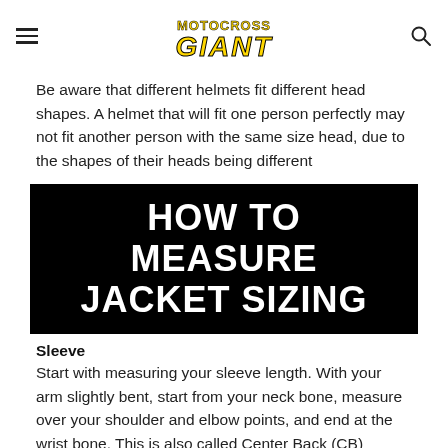MOTOCROSS GIANT (logo)
Be aware that different helmets fit different head shapes. A helmet that will fit one person perfectly may not fit another person with the same size head, due to the shapes of their heads being different
HOW TO MEASURE JACKET SIZING
Sleeve
Start with measuring your sleeve length. With your arm slightly bent, start from your neck bone, measure over your shoulder and elbow points, and end at the wrist bone. This is also called Center Back (CB) Sleeve length.
Center Back (CB) Length